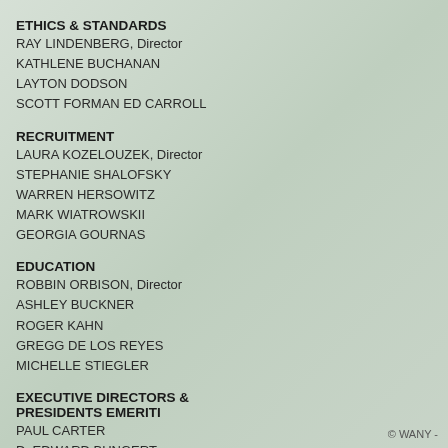ETHICS & STANDARDS
RAY LINDENBERG, Director
KATHLENE BUCHANAN
LAYTON DODSON
SCOTT FORMAN ED CARROLL
RECRUITMENT
LAURA KOZELOUZEK, Director
STEPHANIE SHALOFSKY
WARREN HERSOWITZ
MARK WIATROWSKII
GEORGIA GOURNAS
EDUCATION
ROBBIN ORBISON, Director
ASHLEY BUCKNER
ROGER KAHN
GREGG DE LOS REYES
MICHELLE STIEGLER
EXECUTIVE DIRECTORS & PRESIDENTS EMERITI
PAUL CARTER
D. EDWARD BUNGERT
JOSEPH DETRANO
DAVID JAKUBOWSKI
ANDREA PIRROTTI
© WANY -